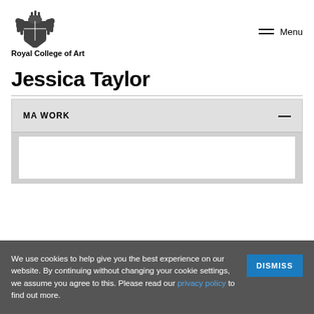Royal College of Art — Menu
Jessica Taylor
MA WORK
We use cookies to help give you the best experience on our website. By continuing without changing your cookie settings, we assume you agree to this. Please read our privacy policy to find out more.